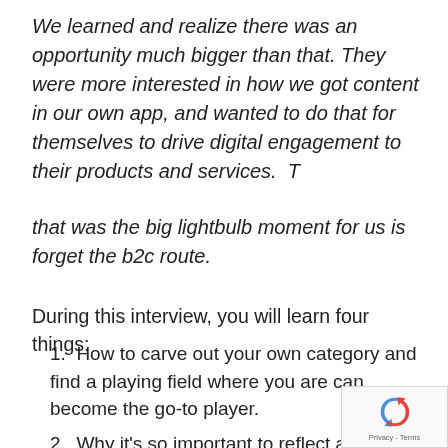We learned and realize there was an opportunity much bigger than that. They were more interested in how we got content in our own app, and wanted to do that for themselves to drive digital engagement to their products and services.  T
that was the big lightbulb moment for us is forget the b2c route.
During this interview, you will learn four things:
1. How to carve out your own category and find a playing field where you are can become the go-to player.
2. Why it's so important to reflect and dig deep